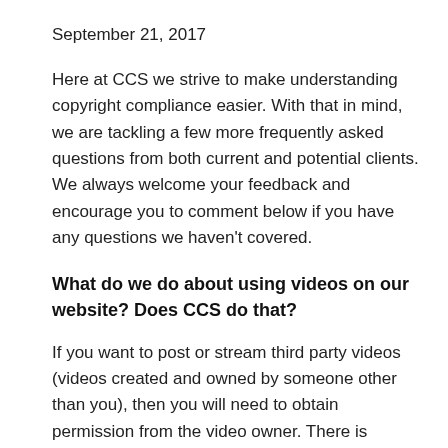September 21, 2017
Here at CCS we strive to make understanding copyright compliance easier. With that in mind, we are tackling a few more frequently asked questions from both current and potential clients. We always welcome your feedback and encourage you to comment below if you have any questions we haven't covered.
What do we do about using videos on our website? Does CCS do that?
If you want to post or stream third party videos (videos created and owned by someone other than you), then you will need to obtain permission from the video owner. There is currently no blanket license that covers the right to post or stream videos. There are a couple of film and video licensing companies that license the right to perform or show films and videos but only for the live showing or performing in your facilities. You can get a